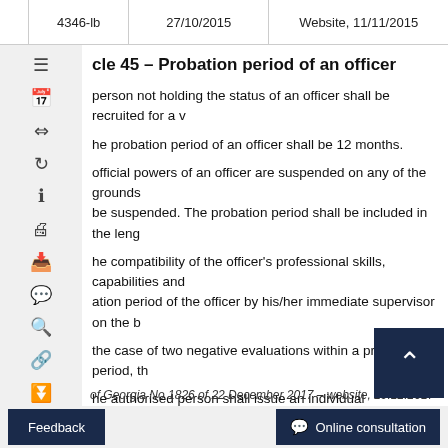4346-lb | 27/10/2015 | Website, 11/11/2015
Article 45 – Probation period of an officer
A person not holding the status of an officer shall be recruited for a w...
The probation period of an officer shall be 12 months.
If official powers of an officer are suspended on any of the grounds... be suspended. The probation period shall be included in the leng...
The compatibility of the officer's professional skills, capabilities and... ation period of the officer by his/her immediate supervisor on the b...
In the case of two negative evaluations within a probation period, th...
The authorised person shall issue an individual administrative act... ndar days after a negative evaluation has been submitted, and if t... king day.
of Georgia No 1826 of 22 December 2017 – website, 29.12.2017